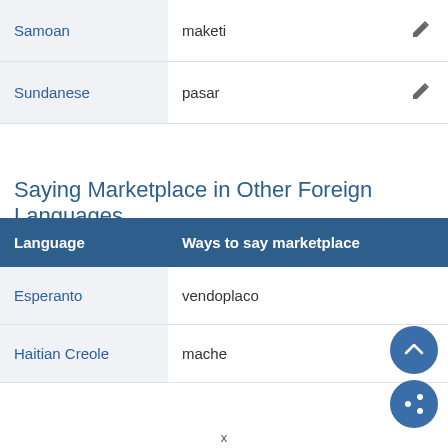| Language | Ways to say marketplace |
| --- | --- |
| Samoan | maketi |
| Sundanese | pasar |
Saying Marketplace in Other Foreign Languages
| Language | Ways to say marketplace |
| --- | --- |
| Esperanto | vendoplaco |
| Haitian Creole | mache |